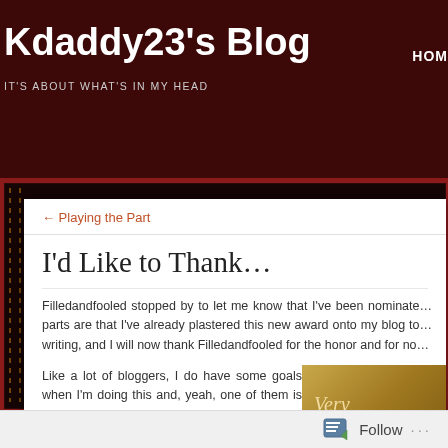Kdaddy23's Blog
IT'S ABOUT WHAT'S IN MY HEAD
HOM
← Playing the Part
I'd Like to Thank…
Filledandfooled stopped by to let me know that I've been nominate… parts are that I've already plastered this new award onto my blog to… writing, and I will now thank Filledandfooled for the honor and for no…
Like a lot of bloggers, I do have some goals when I'm doing this and, yeah, one of them is to inspire others to think and if they're so inspired by
[Figure (photo): Partial image showing golden/warm toned background with text 'Very' visible]
Follow ...